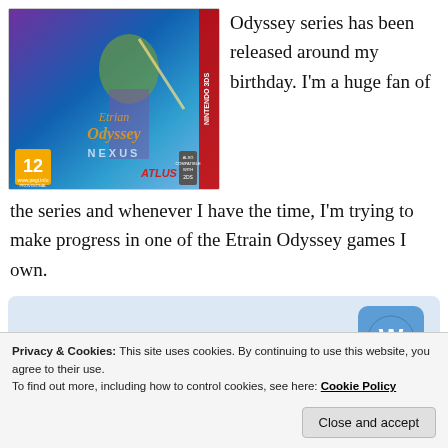[Figure (photo): Etrian Odyssey Nexus Nintendo 3DS game cover art showing a green-haired anime character with a sword, rated 12 by PEGI, published by Atlus]
Odyssey series has been released around my birthday. I'm a huge fan of the series and whenever I have the time, I'm trying to make progress in one of the Etrain Odyssey games I own.
[Figure (screenshot): GET THE APP banner with WordPress logo]
Privacy & Cookies: This site uses cookies. By continuing to use this website, you agree to their use.
To find out more, including how to control cookies, see here: Cookie Policy
Close and accept